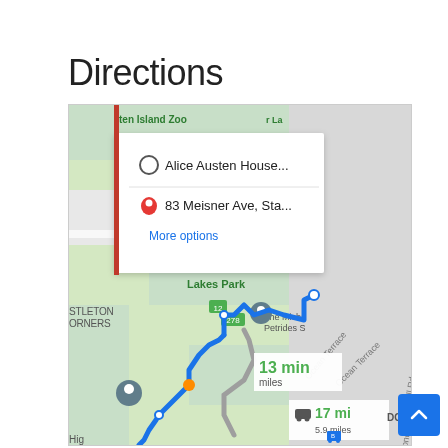Directions
[Figure (screenshot): Google Maps screenshot showing driving directions from Alice Austen House to 83 Meisner Ave, Staten Island. A popup shows origin 'Alice Austen House...' and destination '83 Meisner Ave, Sta...' with a 'More options' link. The map shows a blue route through Staten Island with a travel time of 13 min and distance in miles, and an alternate route showing 17 min / 5.9 miles. Map labels include 'ten Island Zoo', 'Lakes Park', 'STLETON ORNERS', 'The Micha Petrides S', 'Ocean Terrace', 'Todd Hill Rd', 'DON', and 'Hig'. Route badges show 12, 278.]